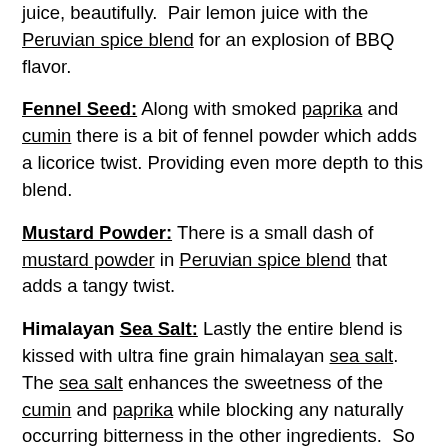juice, beautifully. Pair lemon juice with the Peruvian spice blend for an explosion of BBQ flavor.
Fennel Seed: Along with smoked paprika and cumin there is a bit of fennel powder which adds a licorice twist. Providing even more depth to this blend.
Mustard Powder: There is a small dash of mustard powder in Peruvian spice blend that adds a tangy twist.
Himalayan Sea Salt: Lastly the entire blend is kissed with ultra fine grain himalayan sea salt. The sea salt enhances the sweetness of the cumin and paprika while blocking any naturally occurring bitterness in the other ingredients. So this blend works well on